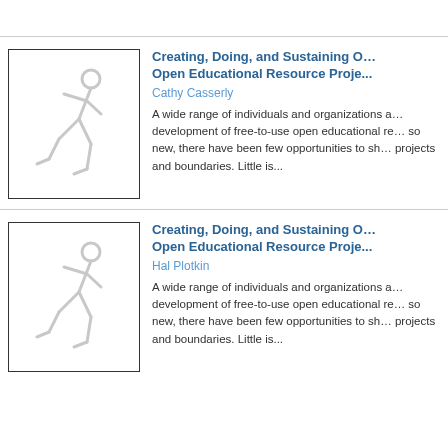[Figure (illustration): Placeholder image with a running figure silhouette in grey on white background, inside a bordered box]
Creating, Doing, and Sustaining Open Educational Resource Projects
Cathy Casserly
A wide range of individuals and organizations are involved in the development of free-to-use open educational resources. The field is so new, there have been few opportunities to share learning across projects and boundaries. Little is...
[Figure (illustration): Placeholder image with a running figure silhouette in grey on white background, inside a bordered box]
Creating, Doing, and Sustaining Open Educational Resource Projects
Hal Plotkin
A wide range of individuals and organizations are involved in the development of free-to-use open educational resources. The field is so new, there have been few opportunities to share learning across projects and boundaries. Little is...
« first   ‹ previous   2   3